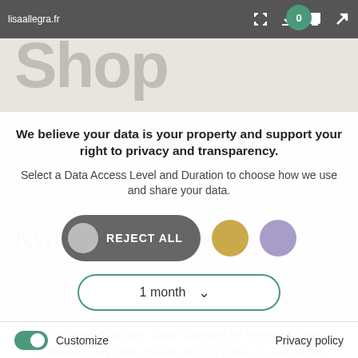lisaallegra.fr
We believe your data is your property and support your right to privacy and transparency.
Select a Data Access Level and Duration to choose how we use and share your data.
REJECT ALL
1 month
Highest level of privacy. Data accessed for necessary basic operations only. Data shared with 3rd parties to ensure the site is secure and works on your device
Save my preferences
Customize   Privacy policy